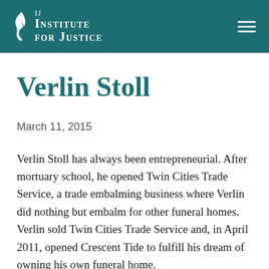Institute for Justice
Verlin Stoll
March 11, 2015
Verlin Stoll has always been entrepreneurial. After mortuary school, he opened Twin Cities Trade Service, a trade embalming business where Verlin did nothing but embalm for other funeral homes. Verlin sold Twin Cities Trade Service and, in April 2011, opened Crescent Tide to fulfill his dream of owning his own funeral home.